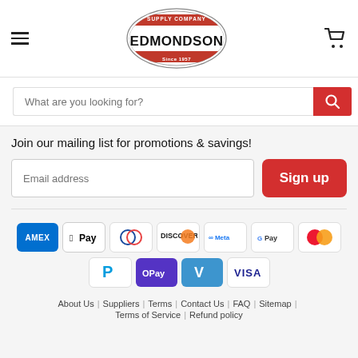Edmondson Supply Company header with hamburger menu, logo, and cart icon
What are you looking for?
Join our mailing list for promotions & savings!
Email address
Sign up
[Figure (logo): Payment method icons: AMEX, Apple Pay, Diners Club, Discover, Meta Pay, Google Pay, Mastercard, PayPal, OPay, Venmo, VISA]
About Us | Suppliers | Terms | Contact Us | FAQ | Sitemap | Terms of Service | Refund policy